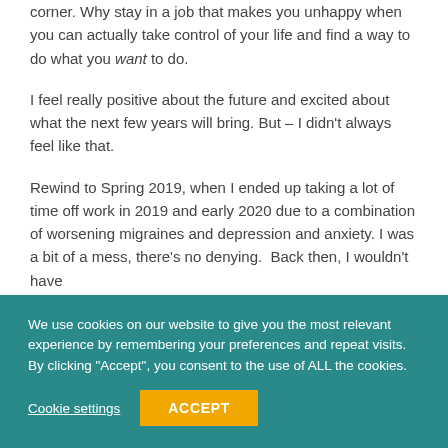corner. Why stay in a job that makes you unhappy when you can actually take control of your life and find a way to do what you want to do.
I feel really positive about the future and excited about what the next few years will bring. But – I didn't always feel like that.
Rewind to Spring 2019, when I ended up taking a lot of time off work in 2019 and early 2020 due to a combination of worsening migraines and depression and anxiety. I was a bit of a mess, there's no denying.  Back then, I wouldn't have
We use cookies on our website to give you the most relevant experience by remembering your preferences and repeat visits. By clicking "Accept", you consent to the use of ALL the cookies.
Cookie settings
ACCEPT